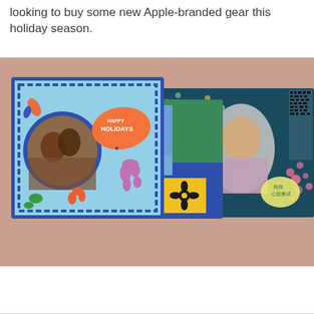looking to buy some new Apple-branded gear this holiday season.
[Figure (illustration): Three overlapping holiday greeting cards arranged on a dusty rose/salmon background. Left card: blue decorative card with wavy border featuring a photo of a couple in a circular frame, colorful dancer silhouettes, and a 'Happy Holidays' orange badge. Middle card: dark blue/purple card with a father and daughter photo, green section, sparkle, yellow box with black flower design, and a purple blob. Right card: dark teal card with dots pattern, a woman's photo in arched frame, QR-code-like pattern, colorful dots, and a yellow Chinese text badge reading 祝你心想事成.]